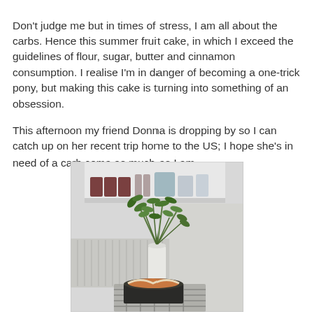Don't judge me but in times of stress, I am all about the carbs. Hence this summer fruit cake, in which I exceed the guidelines of flour, sugar, butter and cinnamon consumption. I realise I'm in danger of becoming a one-trick pony, but making this cake is turning into something of an obsession.

This afternoon my friend Donna is dropping by so I can catch up on her recent trip home to the US; I hope she's in need of a carb coma as much as I am.
[Figure (photo): A white vase with green leafy plant branches sitting on a rack/cooling tray, with a dark cake tin in front of it containing what appears to be a fruit cake. A white shelf with jars/containers is visible in the background.]